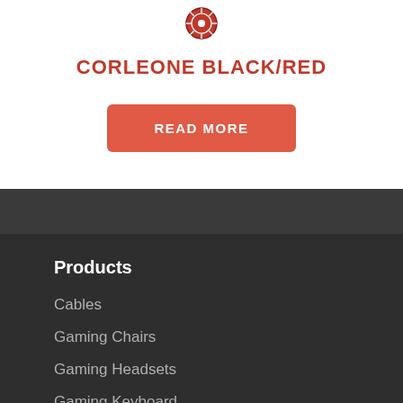[Figure (logo): Small red circular logo/emblem at top center]
CORLEONE BLACK/RED
READ MORE
Products
Cables
Gaming Chairs
Gaming Headsets
Gaming Keyboard